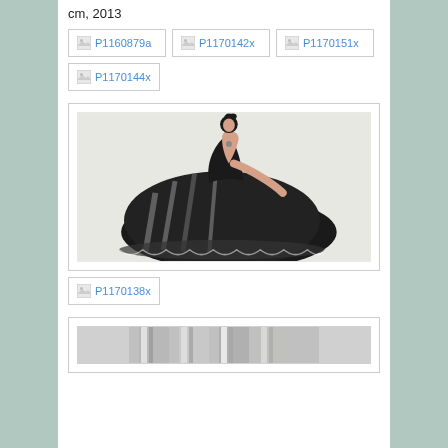cm, 2013
[Figure (photo): Thumbnail image placeholder labeled P1160879a]
[Figure (photo): Thumbnail image placeholder labeled P1170142x]
[Figure (photo): Thumbnail image placeholder labeled P1170151x]
[Figure (photo): Thumbnail image placeholder labeled P1170144x]
[Figure (illustration): Fashion illustration of a woman in an elaborate black ball gown, seated, with dramatic voluminous skirt with black and white stripes, wearing an updo hairstyle]
[Figure (photo): Thumbnail image placeholder labeled P1170138x]
[Figure (photo): Partially visible image at bottom, appears to show metallic or reflective surfaces]